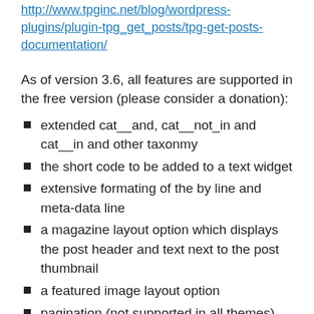http://www.tpginc.net/blog/wordpress-plugins/plugin-tpg_get_posts/tpg-get-posts-documentation/
As of version 3.6, all features are supported in the free version (please consider a donation):
extended cat__and, cat__not_in and cat__in and other taxonmy
the short code to be added to a text widget
extensive formating of the by line and meta-data line
a magazine layout option which displays the post header and text next to the post thumbnail
a featured image layout option
pagination (not supported in all themes) – This option is tested against the WP themes and a very limited set of plugins. There are a few sites that have reported pagination not working, but the problem has not been identified. It could be